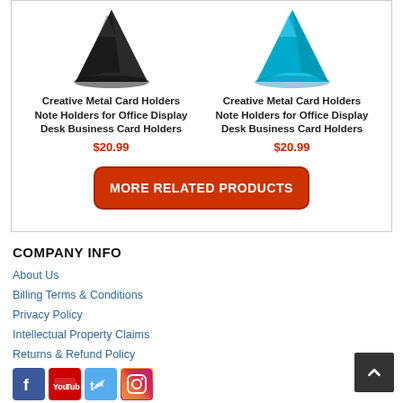[Figure (photo): Black metal card holder on white background]
[Figure (photo): Blue/cyan metal card holder on white background]
Creative Metal Card Holders Note Holders for Office Display Desk Business Card Holders
$20.99
Creative Metal Card Holders Note Holders for Office Display Desk Business Card Holders
$20.99
MORE RELATED PRODUCTS
COMPANY INFO
About Us
Billing Terms & Conditions
Privacy Policy
Intellectual Property Claims
Returns & Refund Policy
[Figure (illustration): Social media icons: Facebook, YouTube, Twitter, Instagram]